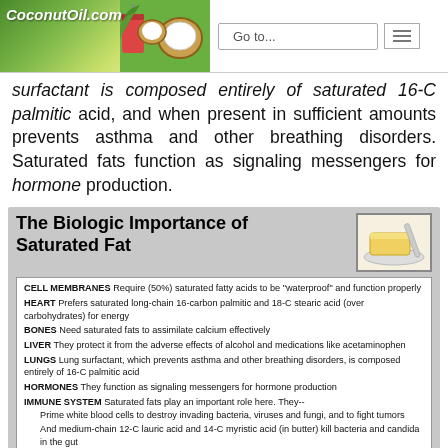CoconutOil.com | Go to...
surfactant is composed entirely of saturated 16-C palmitic acid, and when present in sufficient amounts prevents asthma and other breathing disorders. Saturated fats function as signaling messengers for hormone production.
[Figure (infographic): The Biologic Importance of Saturated Fat infographic listing: CELL MEMBRANES, HEART, BONES, LIVER, LUNGS, HORMONES, IMMUNE SYSTEM, SIGNAL SATIETY, GENERAL HEALTH with descriptions of each.]
The Biologic Importance of Saturated Fat